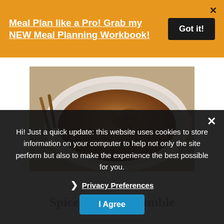Meal Plan like a Pro! Grab my NEW Meal Planning Workbook!
[Figure (photo): Overhead photo of a spiced apple crumble in a white oval baking dish, with cinnamon sticks visible on a cloth beside it]
Spiced Apple Crumble
Hi! Just a quick update: this website uses cookies to store information on your computer to help not only the site perform but also to make the experience the best possible for you.
❯ Privacy Preferences
I Agree